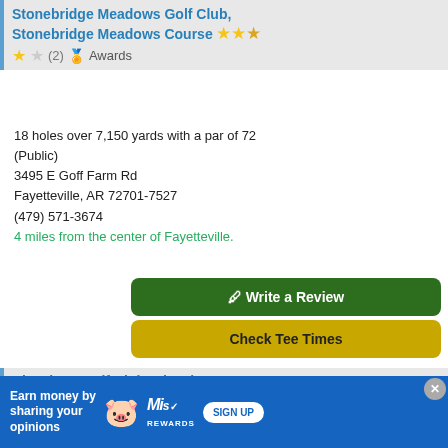Stonebridge Meadows Golf Club, Stonebridge Meadows Course
★☆ (2) 🏅 Awards
18 holes over 7,150 yards with a par of 72 (Public)
3495 E Goff Farm Rd
Fayetteville, AR 72701-7527
(479) 571-3674
4 miles from the center of Fayetteville.
✎ Write a Review
Check Tee Times
Blessings Golf Club, Blessings Course
🔑 ★★★★★½ (2)
18 holes over 7,527 yards with a par of 72 (Private)
5826 Clear Creek Blvd
Fayetteville, AR 72704-9355
[Figure (infographic): Advertisement banner: blue background with pig mascot, text 'Earn money by sharing your opinions', Mis Rewards logo, SIGN UP button. Close button (X) in corner.]